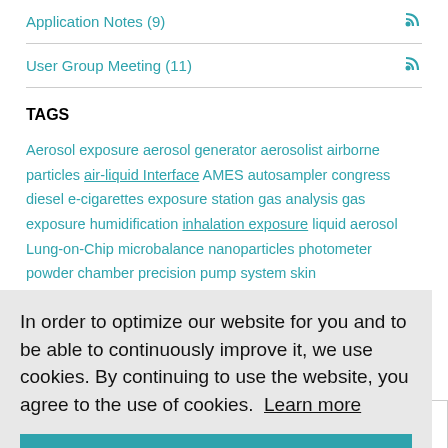Application Notes (9)
User Group Meeting (11)
TAGS
Aerosol exposure aerosol generator aerosolist airborne particles air-liquid Interface AMES autosampler congress diesel e-cigarettes exposure station gas analysis gas exposure humidification inhalation exposure liquid aerosol Lung-on-Chip microbalance nanoparticles photometer powder chamber precision pump system skin
In order to optimize our website for you and to be able to continuously improve it, we use cookies. By continuing to use the website, you agree to the use of cookies. Learn more
OK